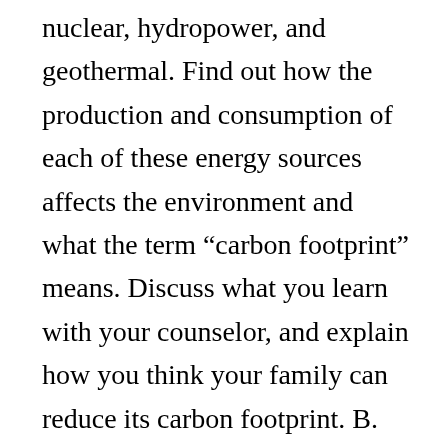nuclear, hydropower, and geothermal. Find out how the production and consumption of each of these energy sources affects the environment and what the term “carbon footprint” means. Discuss what you learn with your counselor, and explain how you think your family can reduce its carbon footprint. B. Develop and implement a plan that attempts to reduce consumption for one of your family’s household utilities. Examine your family’s bills for that utility reflecting usage for three months (past or current). As a